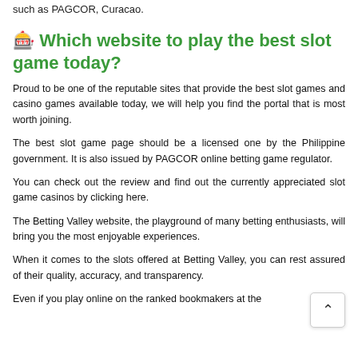such as PAGCOR, Curacao.
🎰 Which website to play the best slot game today?
Proud to be one of the reputable sites that provide the best slot games and casino games available today, we will help you find the portal that is most worth joining.
The best slot game page should be a licensed one by the Philippine government. It is also issued by PAGCOR online betting game regulator.
You can check out the review and find out the currently appreciated slot game casinos by clicking here.
The Betting Valley website, the playground of many betting enthusiasts, will bring you the most enjoyable experiences.
When it comes to the slots offered at Betting Valley, you can rest assured of their quality, accuracy, and transparency.
Even if you play online on the ranked bookmakers at the